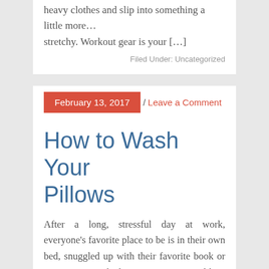heavy clothes and slip into something a little more… stretchy. Workout gear is your […]
Filed Under: Uncategorized
February 13, 2017 / Leave a Comment
How to Wash Your Pillows
After a long, stressful day at work, everyone's favorite place to be is in their own bed, snuggled up with their favorite book or TV series. Our bed is our sanctuary and best place to go to escape the burdens of our everyday lives. With that in mind, it is important to keep this place